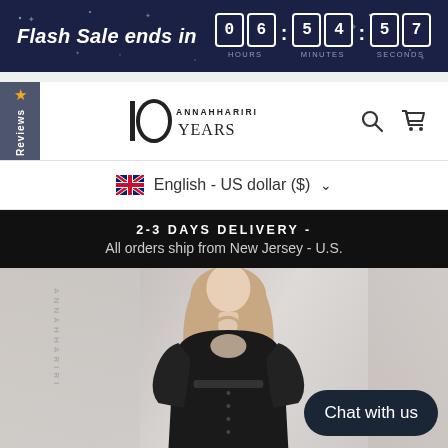Flash Sale ends in 06:54:57 HOURS MINUTES SECONDS
[Figure (logo): Annahhariri 10 Years brand logo with search and cart icons]
★ Reviews
English - US dollar ($) ▾
2-3 DAYS DELIVERY - All orders ship from New Jersey - U.S.
[Figure (photo): Woman wearing black abaya and beige hijab scarf, ANNAHHARIRI watermark on left side]